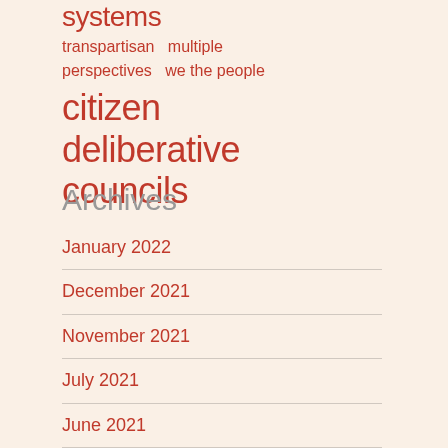systems
transpartisan   multiple perspectives   we the people
citizen deliberative councils
Archives
January 2022
December 2021
November 2021
July 2021
June 2021
May 2021
April 2021
February 2021